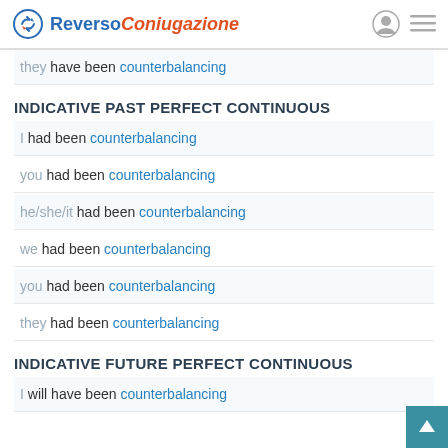Reverso Coniugazione
they have been counterbalancing
INDICATIVE PAST PERFECT CONTINUOUS
I had been counterbalancing
you had been counterbalancing
he/she/it had been counterbalancing
we had been counterbalancing
you had been counterbalancing
they had been counterbalancing
INDICATIVE FUTURE PERFECT CONTINUOUS
I will have been counterbalancing